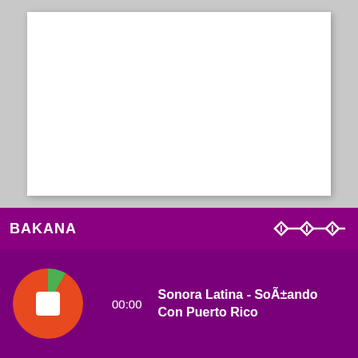[Figure (screenshot): White card on gray background representing album art or content area]
BAKANA
[Figure (other): Equalizer/waveform icon in white on purple bar]
[Figure (other): Orange circle with green arc and white stop button square icon]
00:00
Sonora Latina - SoÃ±ando Con Puerto Rico